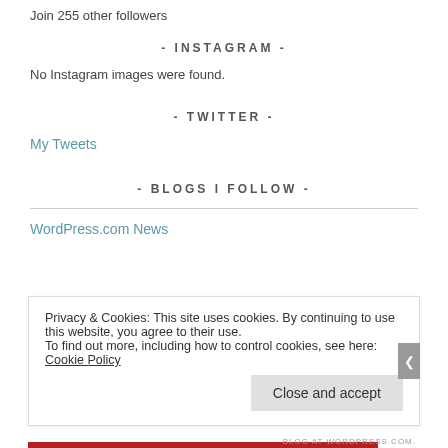Join 255 other followers
- INSTAGRAM -
No Instagram images were found.
- TWITTER -
My Tweets
- BLOGS I FOLLOW -
WordPress.com News
Privacy & Cookies: This site uses cookies. By continuing to use this website, you agree to their use.
To find out more, including how to control cookies, see here: Cookie Policy
Close and accept